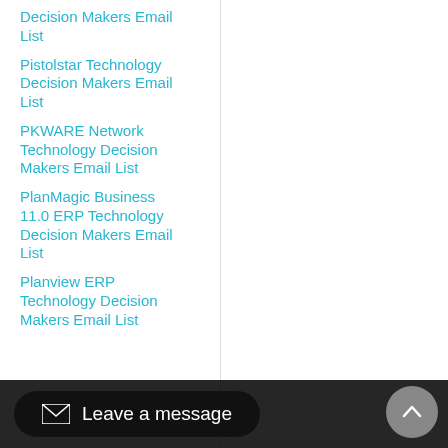Decision Makers Email List
Pistolstar Technology Decision Makers Email List
PKWARE Network Technology Decision Makers Email List
PlanMagic Business 11.0 ERP Technology Decision Makers Email List
Planview ERP Technology Decision Makers Email List
Leave a message